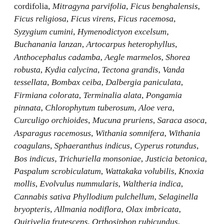cordifolia, Mitragyna parvifolia, Ficus benghalensis, Ficus religiosa, Ficus virens, Ficus racemosa, Syzygium cumini, Hymenodictyon excelsum, Buchanania lanzan, Artocarpus heterophyllus, Anthocephalus cadamba, Aegle marmelos, Shorea robusta, Kydia calycina, Tectona grandis, Vanda tessellata, Bombax ceiba, Dalbergia paniculata, Firmiana colorata, Terminalia alata, Pongamia pinnata, Chlorophytum tuberosum, Aloe vera, Curculigo orchioides, Mucuna pruriens, Saraca asoca, Asparagus racemosus, Withania somnifera, Withania coagulans, Sphaeranthus indicus, Cyperus rotundus, Bos indicus, Trichuriella monsoniae, Justicia betonica, Paspalum scrobiculatum, Wattakaka volubilis, Knoxia mollis, Evolvulus nummularis, Waltheria indica, Cannabis sativa Phyllodium pulchellum, Selaginella bryopteris, Allmania nodiflora, Olax imbricata, Quirivelia frutescens, Orthosiphon rubicundus, Symphorema involucratum, Lannea coromandelica, Plumbago zeylenica, Rivea hypocrateriformis, Helicteres isora, Habenaria grandifloriformis, Combretum sp., Hemigraphis latebrosa, Lepidagathis cristata, Indoneesiella longipedunculata, Eragrostis uniliodes, Cottonia peduncularis, Oryza sativa, Medicinal Rice, Biodiversity, Documentation, Traditional Allelopathic Knowledge, Millets, Ayurveda, Unani, Type II